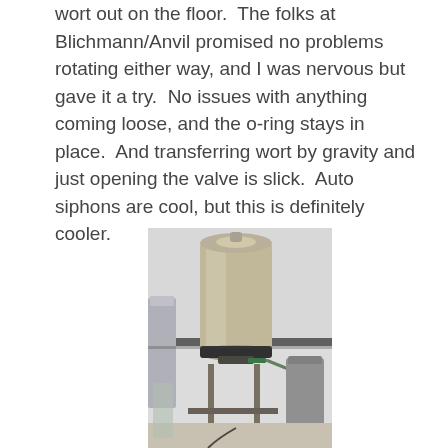wort out on the floor.  The folks at Blichmann/Anvil promised no problems rotating either way, and I was nervous but gave it a try.  No issues with anything coming loose, and the o-ring stays in place.  And transferring wort by gravity and just opening the valve is slick.  Auto siphons are cool, but this is definitely cooler.
[Figure (photo): A stainless steel brewing vessel or fermenter sitting on a table or stand, with various tubes and fittings attached, in what appears to be a kitchen or brewing setup.]